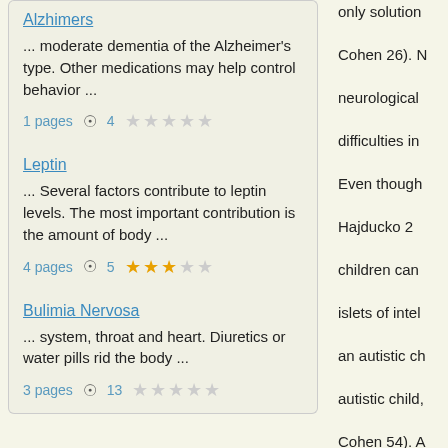Alzhimers
... moderate dementia of the Alzheimer's type. Other medications may help control behavior ...
1 pages   👁 4   ☆☆☆☆☆
Leptin
... Several factors contribute to leptin levels. The most important contribution is the amount of body ...
4 pages   👁 5   ★★★☆☆
Bulimia Nervosa
... system, throat and heart. Diuretics or water pills rid the body ...
3 pages   👁 13   ☆☆☆☆☆
only solution
Cohen 26). N
neurological
difficulties in
Even though
Hajducko 2
children can
islets of intel
an autistic ch
autistic child,
Cohen 54). A